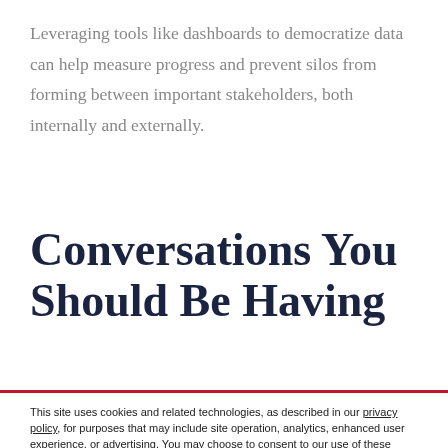Leveraging tools like dashboards to democratize data can help measure progress and prevent silos from forming between important stakeholders, both internally and externally.
Conversations You Should Be Having
This site uses cookies and related technologies, as described in our privacy policy, for purposes that may include site operation, analytics, enhanced user experience, or advertising. You may choose to consent to our use of these technologies, or manage your own preferences.